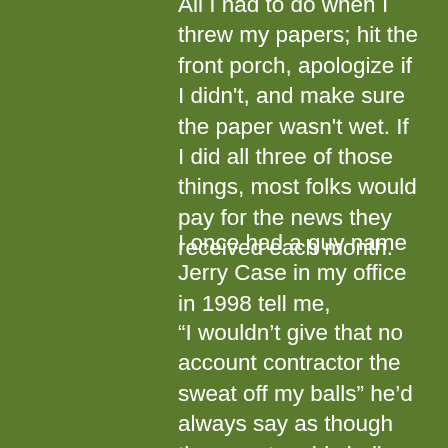All I had to do when I threw my papers; hit the front porch, apologize if I didn't, and make sure the paper wasn't wet. If I did all three of those things, most folks would pay for the news they received each month.
I once had a guy name Jerry Case in my office in 1998 tell me,
“I wouldn’t give that no account contractor the sweat off my balls” he’d always say as though the sweat on his balls was a fundamental necessity for that contractor to finish the house he was building.
Now think about that for a moment, and as you think about it, you might also remember I was just a poor, white girl from Johnson City TN trying to make it big on Madison Avenue, without the fundamental “pharmaceutical” look.
My challenge early on was to figure out how I get the moth without a flame.